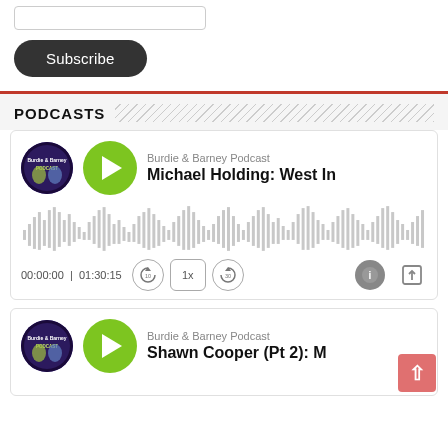[Figure (screenshot): Subscribe button UI element — dark rounded pill button with white text reading 'Subscribe']
PODCASTS
[Figure (screenshot): Podcast player card for 'Burdie & Barney Podcast' — Michael Holding: West I... episode. Shows podcast logo, green play button, audio waveform, time 00:00:00 | 01:30:15, playback controls (skip back 10, 1x speed, skip forward 30), info and share icons.]
[Figure (screenshot): Podcast player card for 'Burdie & Barney Podcast' — Shawn Cooper (Pt 2): M... episode. Shows podcast logo, green play button, partially visible. Scroll-to-top button visible in corner.]